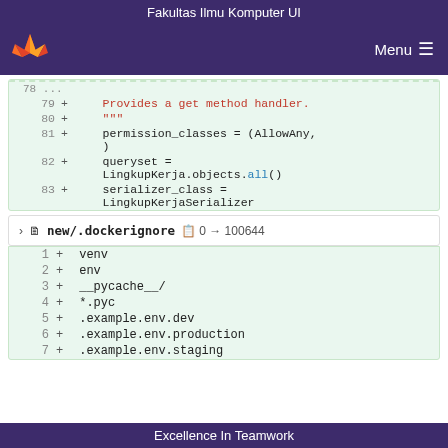Fakultas Ilmu Komputer UI
[Figure (screenshot): GitLab navigation bar with logo and Menu button]
[Figure (screenshot): Code diff showing lines 79-83 with Python code for permission_classes, queryset, and serializer_class]
new/.dockerignore  0 → 100644
[Figure (screenshot): Code diff showing .dockerignore file with lines 1-7: venv, env, __pycache__/, *.pyc, .example.env.dev, .example.env.production, .example.env.staging]
Excellence In Teamwork